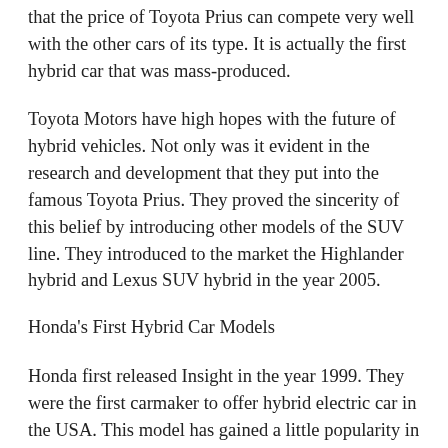that the price of Toyota Prius can compete very well with the other cars of its type. It is actually the first hybrid car that was mass-produced.
Toyota Motors have high hopes with the future of hybrid vehicles. Not only was it evident in the research and development that they put into the famous Toyota Prius. They proved the sincerity of this belief by introducing other models of the SUV line. They introduced to the market the Highlander hybrid and Lexus SUV hybrid in the year 2005.
Honda's First Hybrid Car Models
Honda first released Insight in the year 1999. They were the first carmaker to offer hybrid electric car in the USA. This model has gained a little popularity in the first five years that it was on the market. It was designed to be very fuel efficient and probably did not please the American buyer.